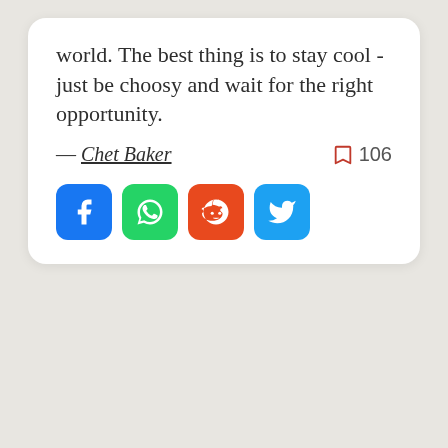world. The best thing is to stay cool - just be choosy and wait for the right opportunity.
— Chet Baker  106
[Figure (infographic): Four social media share buttons: Facebook (blue), WhatsApp (green), Reddit (orange), Twitter (blue)]